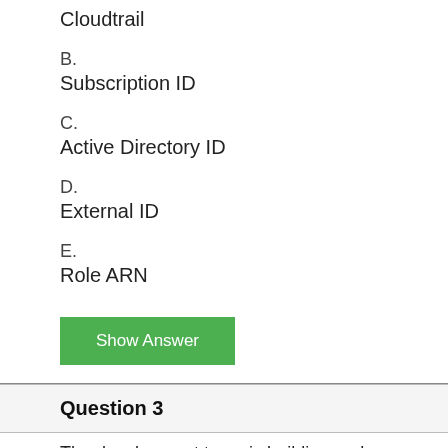Cloudtrail
B.
Subscription ID
C.
Active Directory ID
D.
External ID
E.
Role ARN
Show Answer
Question 3
The development team is building pods to host a web